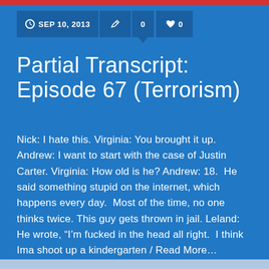SEP 10, 2013  0  0
Partial Transcript: Episode 67 (Terrorism)
Nick: I hate this. Virginia: You brought it up. Andrew: I want to start with the case of Justin Carter. Virginia: How old is he? Andrew: 18.  He said something stupid on the internet, which happens every day.  Most of the time, no one thinks twice. This guy gets thrown in jail. Leland: He wrote, “I'm fucked in the head all right.  I think Ima shoot up a kindergarten / Read More...